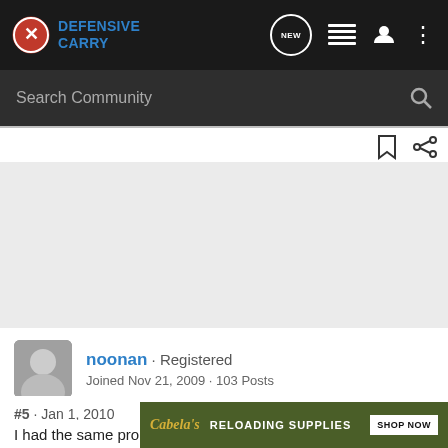[Figure (screenshot): Defensive Carry community forum website header with logo, navigation icons (NEW, list, user, more), search bar, bookmark/share icons, gray advertisement area, user profile section for 'noonan', post metadata (#5 Jan 1 2010), post text beginning 'I had the same problem until I got a crossbreed supertuck holster...', and a Cabela's Reloading Supplies advertisement overlay.]